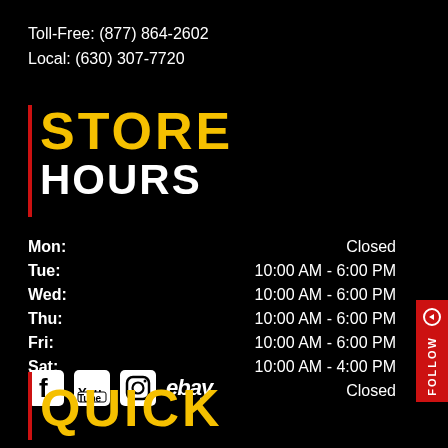Toll-Free: (877) 864-2602
Local: (630) 307-7720
STORE HOURS
| Day | Hours |
| --- | --- |
| Mon: | Closed |
| Tue: | 10:00 AM - 6:00 PM |
| Wed: | 10:00 AM - 6:00 PM |
| Thu: | 10:00 AM - 6:00 PM |
| Fri: | 10:00 AM - 6:00 PM |
| Sat: | 10:00 AM - 4:00 PM |
| Sun: | Closed |
[Figure (logo): Social media icons: Facebook, YouTube, Instagram, eBay]
QUICK